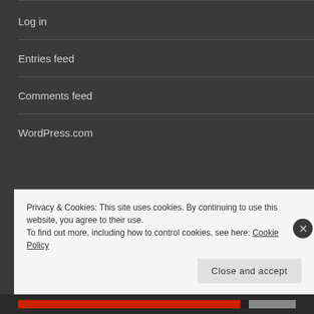Log in
Entries feed
Comments feed
WordPress.com
CROSS STRENGTH MINISTRIES
[Figure (screenshot): Embedded video player with black background and border]
Privacy & Cookies: This site uses cookies. By continuing to use this website, you agree to their use.
To find out more, including how to control cookies, see here: Cookie Policy
Close and accept